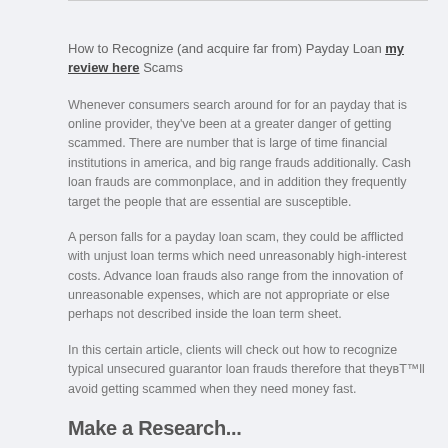How to Recognize (and acquire far from) Payday Loan my review here Scams
Whenever consumers search around for for an payday that is online provider, they've been at a greater danger of getting scammed. There are number that is large of time financial institutions in america, and big range frauds additionally. Cash loan frauds are commonplace, and in addition they frequently target the people that are essential are susceptible.
A person falls for a payday loan scam, they could be afflicted with unjust loan terms which need unreasonably high-interest costs. Advance loan frauds also range from the innovation of unreasonable expenses, which are not appropriate or else perhaps not described inside the loan term sheet.
In this certain article, clients will check out how to recognize typical unsecured guarantor loan frauds therefore that they'll avoid getting scammed when they need money fast.
Make a Research...